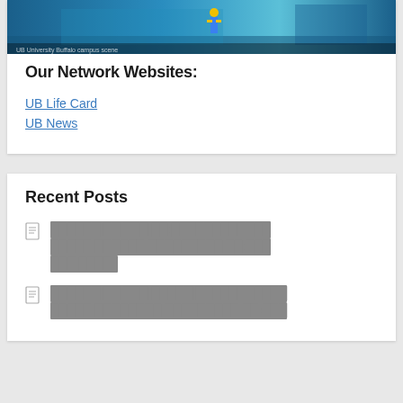[Figure (photo): Blue-toned warehouse or industrial scene with a person in yellow and blue clothing visible]
Our Network Websites:
UB Life Card
UB News
Recent Posts
[redacted post title 1]
[redacted post title 2]